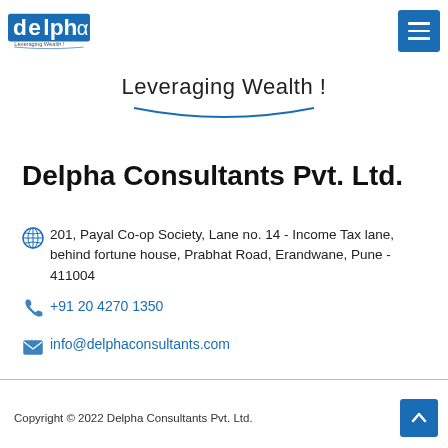[Figure (logo): Delpha Consultants logo with text 'delpha' in blue and 'Leveraging Wealth !' tagline, plus hamburger menu button in blue]
Leveraging Wealth !
Delpha Consultants Pvt. Ltd.
201, Payal Co-op Society, Lane no. 14 - Income Tax lane, behind fortune house, Prabhat Road, Erandwane, Pune - 411004
+91 20 4270 1350
info@delphaconsultants.com
Copyright © 2022 Delpha Consultants Pvt. Ltd.